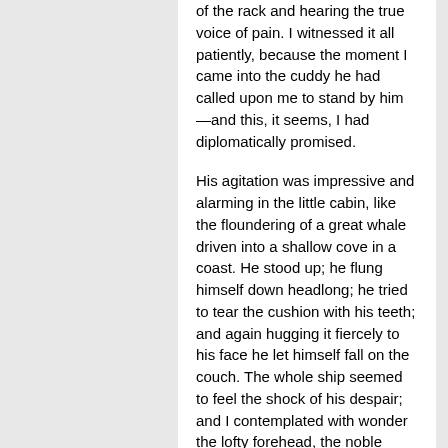of the rack and hearing the true voice of pain. I witnessed it all patiently, because the moment I came into the cuddy he had called upon me to stand by him—and this, it seems, I had diplomatically promised.
His agitation was impressive and alarming in the little cabin, like the floundering of a great whale driven into a shallow cove in a coast. He stood up; he flung himself down headlong; he tried to tear the cushion with his teeth; and again hugging it fiercely to his face he let himself fall on the couch. The whole ship seemed to feel the shock of his despair; and I contemplated with wonder the lofty forehead, the noble touch of time on the uncovered temples, the unchanged hungry